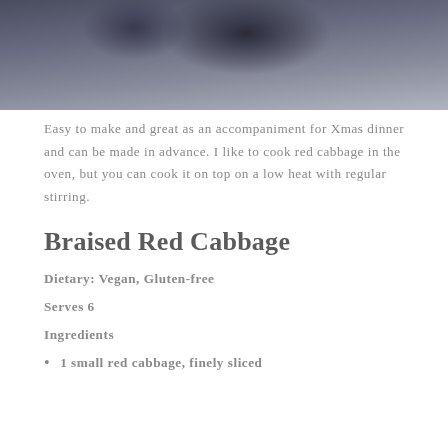[Figure (photo): Top portion of a photo showing a bowl of braised red cabbage on a dark stone surface, partially cropped]
Easy to make and great as an accompaniment for Xmas dinner and can be made in advance. I like to cook red cabbage in the oven, but you can cook it on top on a low heat with regular stirring.
Braised Red Cabbage
Dietary: Vegan, Gluten-free
Serves 6
Ingredients
1 small red cabbage, finely sliced